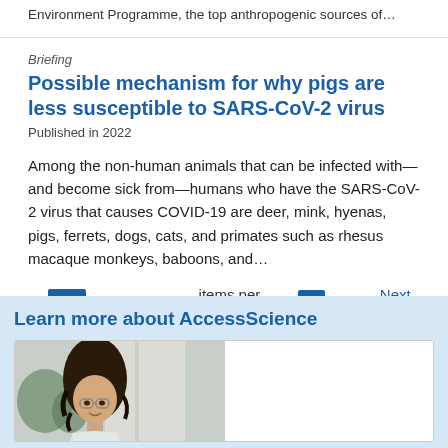Environment Programme, the top anthropogenic sources of…
Briefing
Possible mechanism for why pigs are less susceptible to SARS-CoV-2 virus
Published in 2022
Among the non-human animals that can be infected with—and become sick from—humans who have the SARS-CoV-2 virus that causes COVID-19 are deer, mink, hyenas, pigs, ferrets, dogs, cats, and primates such as rhesus macaque monkeys, baboons, and…
10 | 25 | 50 | 100 items per page  1  2  3  4  Next »
Learn more about AccessScience
[Figure (photo): Photo of a woman with curly dark hair and glasses, in a laboratory or office setting with plants visible in the background.]